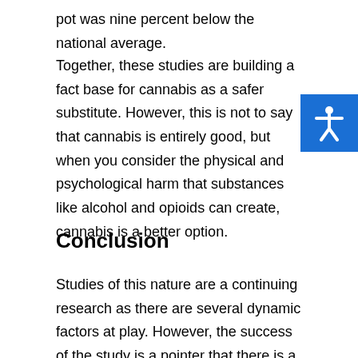pot was nine percent below the national average.
Together, these studies are building a fact base for cannabis as a safer substitute. However, this is not to say that cannabis is entirely good, but when you consider the physical and psychological harm that substances like alcohol and opioids can create, cannabis is a better option.
Conclusion
Studies of this nature are a continuing research as there are several dynamic factors at play. However, the success of the study is a pointer that there is a sense of substantial evidence of cannabis efficacy in helping to deal with substance dependence, particularly, alcohol dependence.